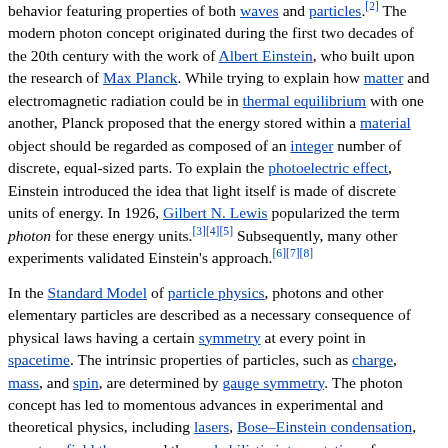behavior featuring properties of both waves and particles.[2] The modern photon concept originated during the first two decades of the 20th century with the work of Albert Einstein, who built upon the research of Max Planck. While trying to explain how matter and electromagnetic radiation could be in thermal equilibrium with one another, Planck proposed that the energy stored within a material object should be regarded as composed of an integer number of discrete, equal-sized parts. To explain the photoelectric effect, Einstein introduced the idea that light itself is made of discrete units of energy. In 1926, Gilbert N. Lewis popularized the term photon for these energy units.[3][4][5] Subsequently, many other experiments validated Einstein's approach.[6][7][8]
In the Standard Model of particle physics, photons and other elementary particles are described as a necessary consequence of physical laws having a certain symmetry at every point in spacetime. The intrinsic properties of particles, such as charge, mass, and spin, are determined by gauge symmetry. The photon concept has led to momentous advances in experimental and theoretical physics, including lasers, Bose–Einstein condensation, quantum field theory, and the probabilistic interpretation of quantum mechanics. It has been applied to photochemistry, high-resolution microscopy, and measurements of molecular distances. Moreover, photons have been studied as elements of quantum